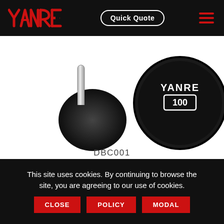YANRE | Quick Quote
[Figure (photo): Product photo of a round-head urethane dumbbell (CPU) shown from two angles: left side shows the handle and one head from the side; right side shows the round face of a head stamped with YANRE logo and '100' weight label. Black urethane construction with chrome handle.]
DBC001
URETHANE ROUND HEAD DUMBBELL (CPU)
This site uses cookies. By continuing to browse the site, you are agreeing to our use of cookies.
CLOSE | POLICY | MODAL